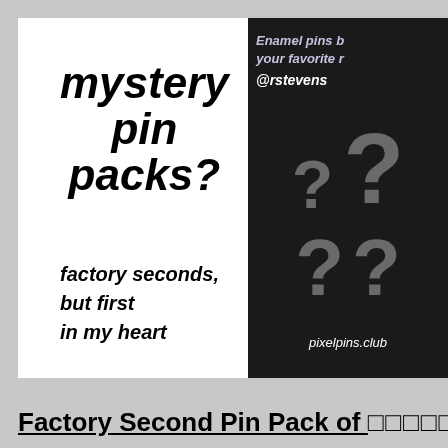[Figure (photo): Product photo showing two overlapping cards: a white card on the left with bold italic text reading 'mystery pin packs?' and subtext 'factory seconds, but first in my heart', and a black card on the right with purple/white text 'Enamel pins b... your favorite r... @rstevens' and four grey question marks arranged in a 2x2 grid, plus 'pixelpins.club' at the bottom.]
Factory Second Pin Pack of □□□□□